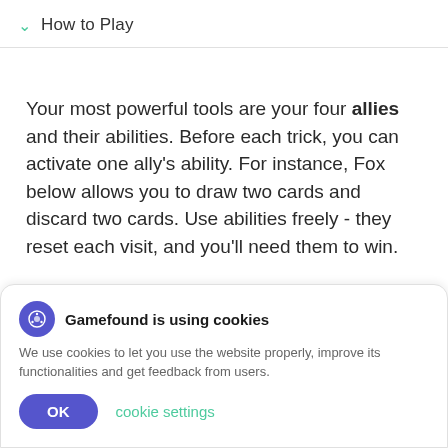How to Play
Your most powerful tools are your four allies and their abilities. Before each trick, you can activate one ally's ability. For instance, Fox below allows you to draw two cards and discard two cards. Use abilities freely - they reset each visit, and you'll need them to win.
Gamefound is using cookies
We use cookies to let you use the website properly, improve its functionalities and get feedback from users.
OK  cookie settings